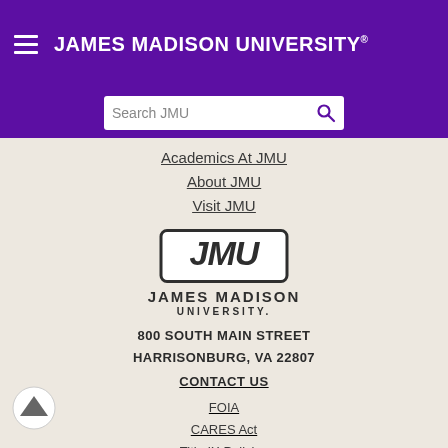JAMES MADISON UNIVERSITY
Search JMU
Academics At JMU
About JMU
Visit JMU
[Figure (logo): JMU wordmark logo with stylized JMU letters and JAMES MADISON UNIVERSITY text below]
800 SOUTH MAIN STREET
HARRISONBURG, VA 22807
CONTACT US
FOIA
CARES Act
Title IX Policies
Student Consumer Information
Annual Security and Fire Safety Report
© 2022 JAMES MADISON UNIVERSITY